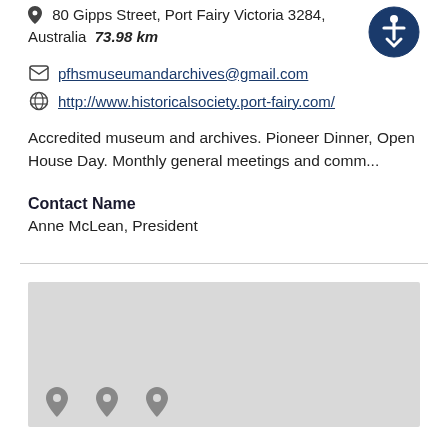80 Gipps Street, Port Fairy Victoria 3284, Australia  73.98 km
pfhsmuseumandarchives@gmail.com
http://www.historicalsociety.port-fairy.com/
Accredited museum and archives. Pioneer Dinner, Open House Day. Monthly general meetings and comm...
Contact Name
Anne McLean, President
[Figure (map): Greyed-out map placeholder with location pin icons at the bottom]